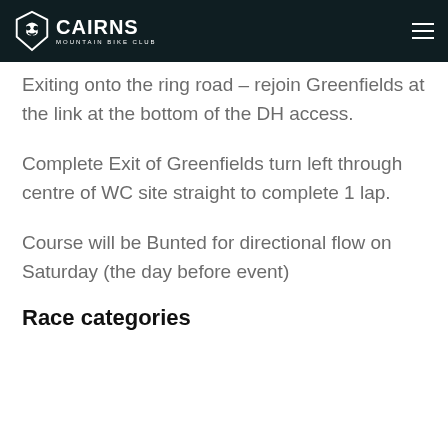CAIRNS MOUNTAIN BIKE CLUB
Exiting onto the ring road – rejoin Greenfields at the link at the bottom of the DH access.
Complete Exit of Greenfields turn left through centre of WC site straight to complete 1 lap.
Course will be Bunted for directional flow on Saturday (the day before event)
Race categories